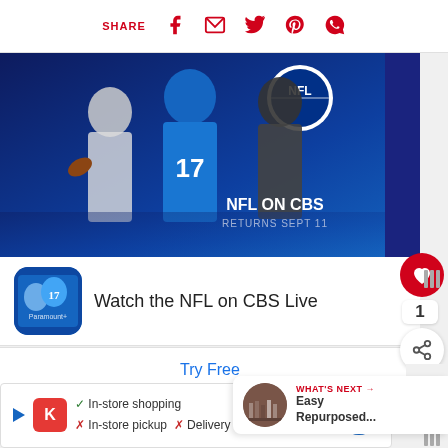SHARE (Facebook, Email, Twitter, Pinterest, WhatsApp)
[Figure (photo): NFL on CBS advertisement banner showing football players in uniform including player #17, with NFL logo, text 'NFL ON CBS RETURNS SEPT 11' and Paramount+ branding on blue background]
Watch the NFL on CBS Live
Try Free
WHAT'S NEXT → Easy Repurposed...
In-store shopping  In-store pickup  Delivery